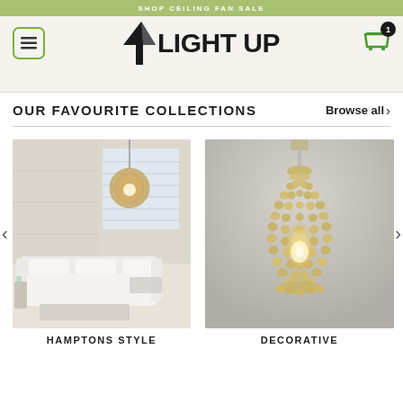SHOP CEILING FAN SALE
[Figure (logo): Light Up logo with angular arrow icon and bold LIGHT UP text]
OUR FAVOURITE COLLECTIONS
Browse all >
[Figure (photo): Hamptons style living room with white sofa and round rattan pendant lamp]
HAMPTONS STYLE
[Figure (photo): Decorative beaded chandelier pendant lamp against grey wall]
DECORATIVE